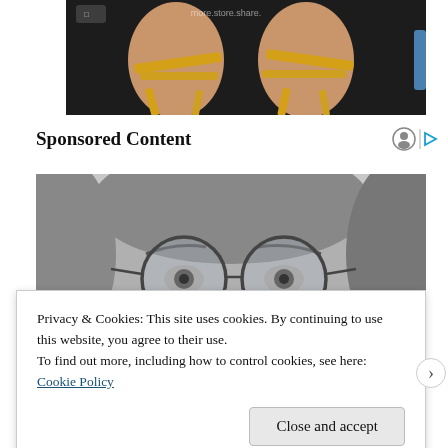[Figure (photo): Close-up photo of two feet/ankles with yellow/gold straps, viewed from above on a dark background]
Sponsored Content
[Figure (photo): Black and white photo of a person wearing round glasses, close-up on upper face and eyes]
Privacy & Cookies: This site uses cookies. By continuing to use this website, you agree to their use.
To find out more, including how to control cookies, see here: Cookie Policy
Close and accept